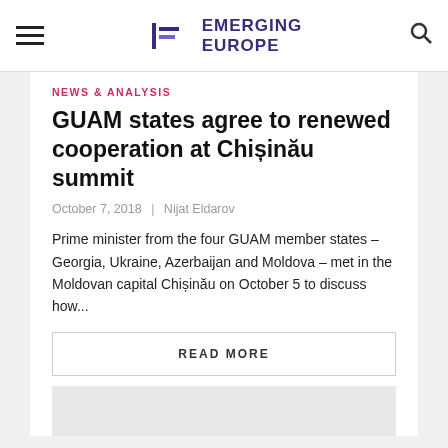Emerging Europe
NEWS & ANALYSIS
GUAM states agree to renewed cooperation at Chișinău summit
October 7, 2018 | Nijat Eldarov
Prime minister from the four GUAM member states – Georgia, Ukraine, Azerbaijan and Moldova – met in the Moldovan capital Chișinău on October 5 to discuss how...
READ MORE